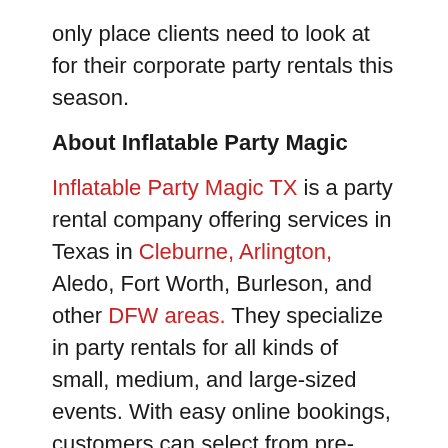only place clients need to look at for their corporate party rentals this season.
About Inflatable Party Magic
Inflatable Party Magic TX is a party rental company offering services in Texas in Cleburne, Arlington, Aledo, Fort Worth, Burleson, and other DFW areas. They specialize in party rentals for all kinds of small, medium, and large-sized events. With easy online bookings, customers can select from pre-made packages or design their packages with a range of rock climbing walls, photo booths, and more.